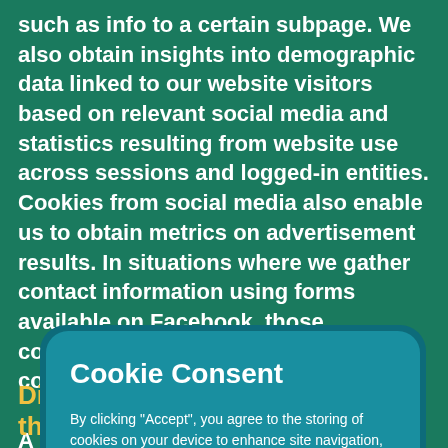such as info to a certain subpage. We also obtain insights into demographic data linked to our website visitors based on relevant social media and statistics resulting from website use across sessions and logged-in entities. Cookies from social media also enable us to obtain metrics on advertisement results. In situations where we gather contact information using forms available on Facebook, those completing the forms give their consent to accepting the terms and ... e...
[Figure (screenshot): Cookie Consent modal dialog overlay on a green background. Title: 'Cookie Consent'. Body text: 'By clicking "Accept", you agree to the storing of cookies on your device to enhance site navigation, analyze site usage, and assist in our marketing efforts. View our Privacy Policy for more information.' Two buttons: 'Accept' (white filled) and 'Deny' (outlined).]
Disclosure of personal data to third